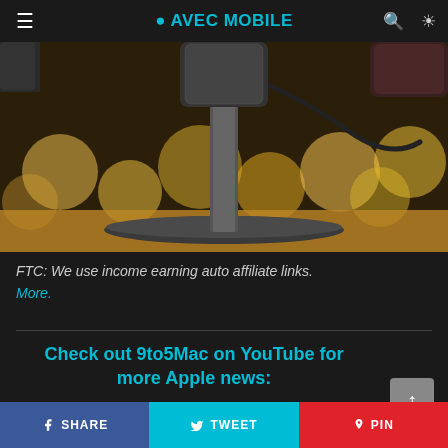● AVEC MOBILE
[Figure (photo): Close-up photo of a microphone stand base on a wooden desk with bokeh yellow lights in the background]
FTC: We use income earning auto affiliate links. More.
Check out 9to5Mac on YouTube for more Apple news:
SHARE   TWEET   PIN